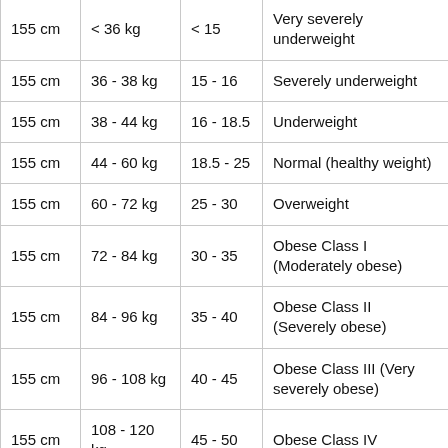| Height | Weight | BMI | Category |
| --- | --- | --- | --- |
| 155 cm | < 36 kg | < 15 | Very severely underweight |
| 155 cm | 36 - 38 kg | 15 - 16 | Severely underweight |
| 155 cm | 38 - 44 kg | 16 - 18.5 | Underweight |
| 155 cm | 44 - 60 kg | 18.5 - 25 | Normal (healthy weight) |
| 155 cm | 60 - 72 kg | 25 - 30 | Overweight |
| 155 cm | 72 - 84 kg | 30 - 35 | Obese Class I (Moderately obese) |
| 155 cm | 84 - 96 kg | 35 - 40 | Obese Class II (Severely obese) |
| 155 cm | 96 - 108 kg | 40 - 45 | Obese Class III (Very severely obese) |
| 155 cm | 108 - 120 kg | 45 - 50 | Obese Class IV |